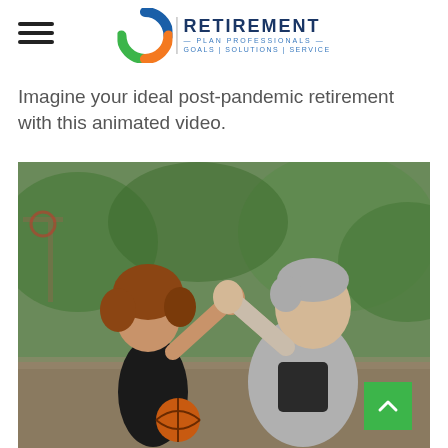Retirement Plan Professionals — Goals | Solutions | Service
Imagine your ideal post-pandemic retirement with this animated video.
[Figure (photo): An elderly man and a young child giving each other a high-five on an outdoor basketball court, both laughing joyfully. A basketball is visible near them. Green trees in the background.]